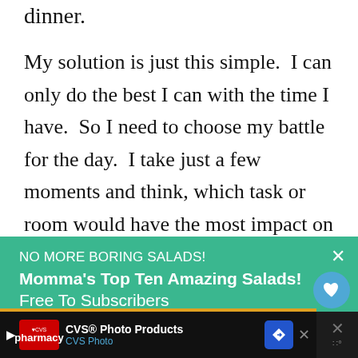dinner.
My solution is just this simple.  I can only do the best I can with the time I have.  So I need to choose my battle for the day.  I take just a few moments and think, which task or room would have the most impact on my happiness today?
[Figure (screenshot): Green advertisement banner: 'NO MORE BORING SALADS! Momma's Top Ten Amazing Salads! Free To Subscribers' with close X button, heart/like button, and count badge showing 28]
[Figure (screenshot): Black bottom advertisement bar for CVS Photo Products with CVS pharmacy logo, navigation arrow icon, and dismiss X button]